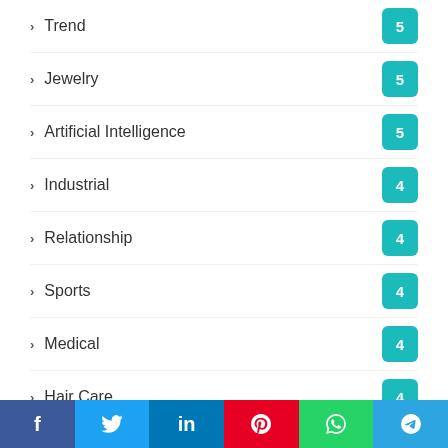Trend 5
Jewelry 5
Artificial Intelligence 5
Industrial 4
Relationship 4
Sports 4
Medical 4
Hair Care 4
Self-Development 4
Freelancing 3
Uncategorized 3
Flash Games 3
Others 3
f  t  in  pinterest  whatsapp  telegram